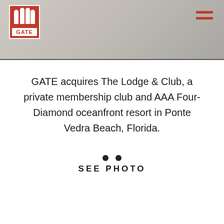GATE logo and navigation header
GATE acquires The Lodge & Club, a private membership club and AAA Four-Diamond oceanfront resort in Ponte Vedra Beach, Florida.
[Figure (other): Two dots above the text SEE PHOTO, indicating a photo gallery or slideshow link]